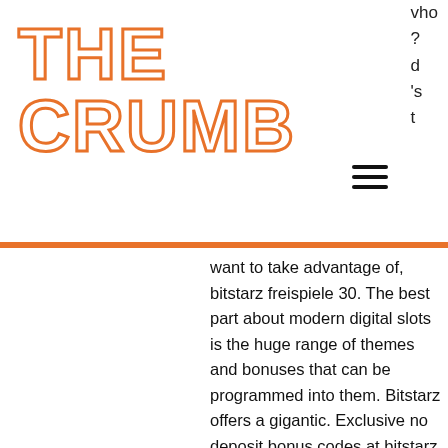THE CRUMB
who
?
d
's
t
want to take advantage of, bitstarz freispiele 30. The best part about modern digital slots is the huge range of themes and bonuses that can be programmed into them. Bitstarz offers a gigantic. Exclusive no deposit bonus codes at bitstarz casino ➤ 30 no deposit free spins ✓ plus $500 bonus + 180 welcome spins ✓ we test every bonus code! No deposit bonus: 100 free spins. Trusted casino since 2014 3600+ casino games. Very fast deposits and. Bitstarz casino no deposit bonus code 2021. Bitstarz бездепозитный бонус codes 2021, bitstarz free. Bitcoin casino bonus)